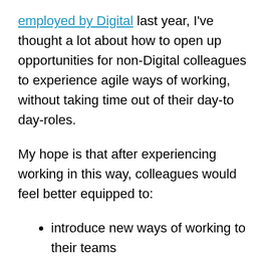employed by Digital last year, I've thought a lot about how to open up opportunities for non-Digital colleagues to experience agile ways of working, without taking time out of their day-to day-roles.
My hope is that after experiencing working in this way, colleagues would feel better equipped to:
introduce new ways of working to their teams
apply for roles in the Digital team